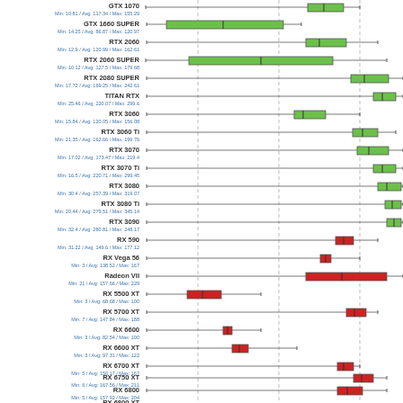[Figure (continuous-plot): Horizontal box-and-whisker plot showing GPU performance benchmarks. Green boxes represent NVIDIA GPUs, red boxes represent AMD GPUs. Each row shows a GPU model name with Min/Avg/Max FPS stats below it. GPUs shown: GTX 1070, GTX 1660 SUPER, RTX 2060, RTX 2060 SUPER, RTX 2080 SUPER, TITAN RTX, RTX 3060, RTX 3060 Ti, RTX 3070, RTX 3070 Ti, RTX 3080, RTX 3080 Ti, RTX 3090, RX 590, RX Vega 56, Radeon VII, RX 5500 XT, RX 5700 XT, RX 6600, RX 6600 XT, RX 6700 XT, RX 6750 XT, RX 6800, RX 6800 XT]